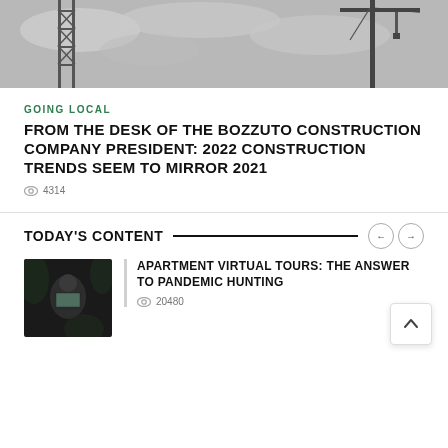[Figure (photo): Black and white photo of construction crane against cloudy sky]
GOING LOCAL
FROM THE DESK OF THE BOZZUTO CONSTRUCTION COMPANY PRESIDENT: 2022 CONSTRUCTION TRENDS SEEM TO MIRROR 2021
4314
TODAY'S CONTENT
[Figure (photo): Person sitting with laptop in dark setting]
APARTMENT VIRTUAL TOURS: THE ANSWER TO PANDEMIC HUNTING
20480